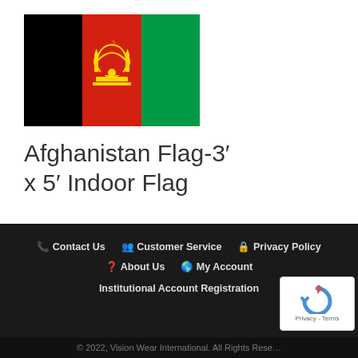[Figure (illustration): Afghanistan national flag — three vertical stripes (black, red, green) with the national emblem (mosque and wheat/scroll) in gold at center.]
Afghanistan Flag-3′ x 5′ Indoor Flag
$10.00
2 in stock
📞 Contact Us   👥 Customer Service   🔒 Privacy Policy   ❓ About Us   🌐 My Account   Institutional Account Registration
© 2022, Vision Wear International. All Rights Reserved